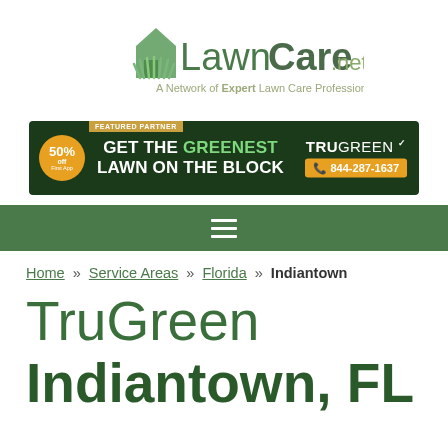[Figure (logo): LawnCare.net logo with house and grass icon, green color scheme]
A Network of Expert Lawn Care Professionals
[Figure (other): TruGreen featured partner ad banner: GET THE GREENEST LAWN ON THE BLOCK, 50% off, 844-287-1637]
[Figure (other): Green navigation bar with hamburger menu icon]
Home » Service Areas » Florida » Indiantown
TruGreen Indiantown, FL